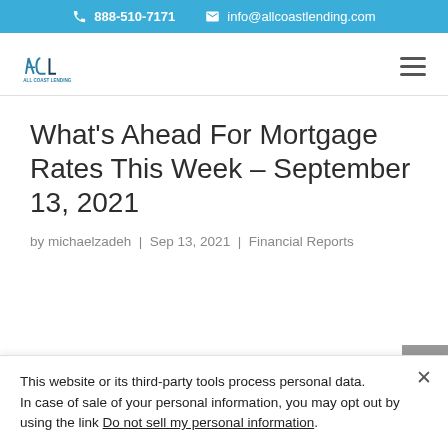888-510-7171   info@allcoastlending.com
[Figure (logo): ACL (All Coast Lending) logo — stylized letters ACL in teal/dark blue]
What's Ahead For Mortgage Rates This Week – September 13, 2021
by michaelzadeh | Sep 13, 2021 | Financial Reports
This website or its third-party tools process personal data.
In case of sale of your personal information, you may opt out by using the link Do not sell my personal information.